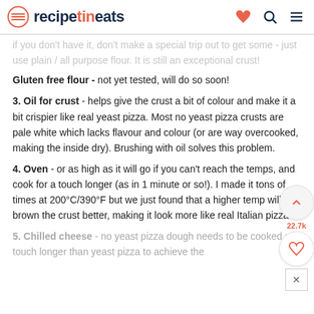recipetineats
if you don't have it, don't make a special trip out to get some - just use plain / all purpose flour. It is still an exceptional crust!
Gluten free flour - not yet tested, will do so soon!
3. Oil for crust - helps give the crust a bit of colour and make it a bit crispier like real yeast pizza. Most no yeast pizza crusts are pale white which lacks flavour and colour (or are way overcooked, making the inside dry). Brushing with oil solves this problem.
4. Oven - or as high as it will go if you can't reach the temps, and cook for a touch longer (as in 1 minute or so!). I made it tons of times at 200°C/390°F but we just found that a higher temp will brown the crust better, making it look more like real Italian pizza.
5. Chilled cheese - no yeast pizza dough needs to be cooked a touch longer than yeast pizza to achieve the